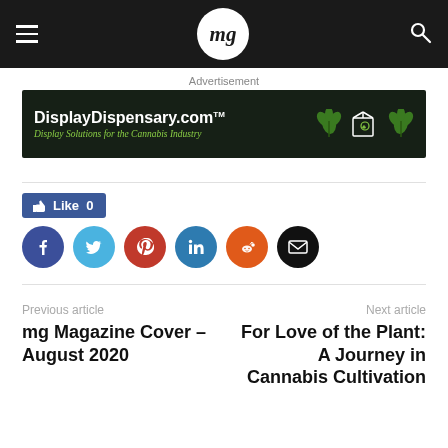mg Magazine header with hamburger menu, mg logo, and search icon
Advertisement
[Figure (illustration): DisplayDispensary.com advertisement banner — dark green background with white bold text 'DisplayDispensary.com TM', green italic script 'Display Solutions for the Cannabis Industry', cannabis leaf graphics and cube logo]
Like 0
[Figure (infographic): Social sharing buttons: Facebook (dark blue), Twitter (light blue), Pinterest (red), LinkedIn (blue), Reddit (orange), Email (black)]
Previous article
mg Magazine Cover – August 2020
Next article
For Love of the Plant: A Journey in Cannabis Cultivation